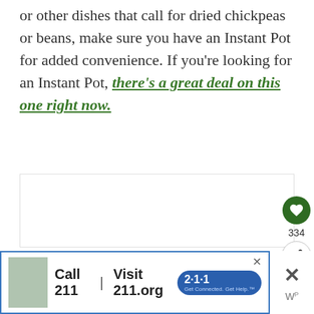or other dishes that call for dried chickpeas or beans, make sure you have an Instant Pot for added convenience. If you're looking for an Instant Pot, there's a great deal on this one right now.
[Figure (other): White image placeholder area below the text block]
[Figure (screenshot): UI elements: heart/like button (dark green circle with heart icon), like count 334, share button (circle with share icon)]
[Figure (screenshot): Advertisement banner: photo of person, text 'Call 211 | Visit 211.org' with blue 211 badge, close X button, and W logo on right side]